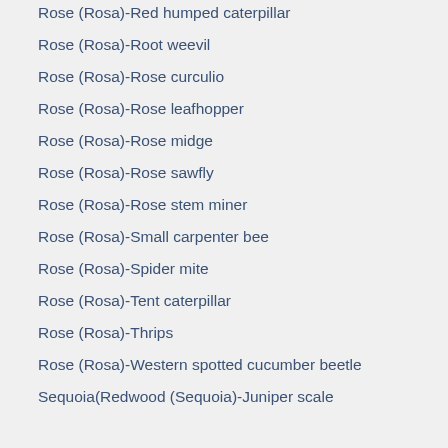Rose (Rosa)-Red humped caterpillar
Rose (Rosa)-Root weevil
Rose (Rosa)-Rose curculio
Rose (Rosa)-Rose leafhopper
Rose (Rosa)-Rose midge
Rose (Rosa)-Rose sawfly
Rose (Rosa)-Rose stem miner
Rose (Rosa)-Small carpenter bee
Rose (Rosa)-Spider mite
Rose (Rosa)-Tent caterpillar
Rose (Rosa)-Thrips
Rose (Rosa)-Western spotted cucumber beetle
Sequoia(Redwood (Sequoia)-Juniper scale